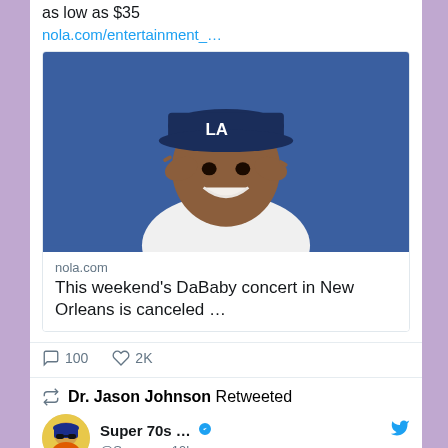as low as $35
nola.com/entertainment_…
[Figure (photo): Photo of DaBaby wearing an LA Dodgers cap, smiling, pointing fingers to his temples, wearing a white shirt and chain necklace, blue background.]
nola.com
This weekend's DaBaby concert in New Orleans is canceled …
100 comments, 2K likes
Dr. Jason Johnson Retweeted
[Figure (illustration): Super 70s Sports avatar cartoon character with sunglasses.]
Super 70s … @Super… · 19h
I loved Richard Scarry books